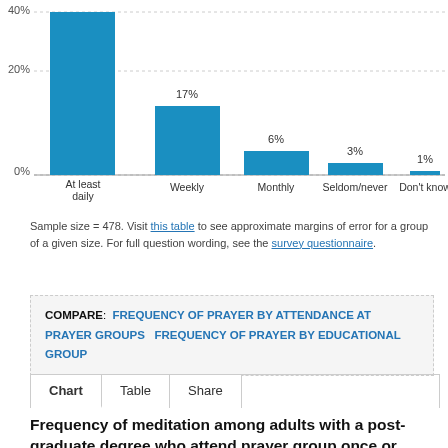[Figure (bar-chart): Frequency of prayer]
Sample size = 478. Visit this table to see approximate margins of error for a group of a given size. For full question wording, see the survey questionnaire.
COMPARE: FREQUENCY OF PRAYER BY ATTENDANCE AT PRAYER GROUPS   FREQUENCY OF PRAYER BY EDUCATIONAL GROUP
Chart   Table   Share
Frequency of meditation among adults with a post-graduate degree who attend prayer group once or